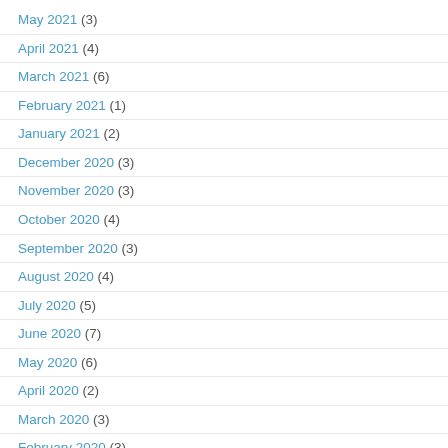May 2021 (3)
April 2021 (4)
March 2021 (6)
February 2021 (1)
January 2021 (2)
December 2020 (3)
November 2020 (3)
October 2020 (4)
September 2020 (3)
August 2020 (4)
July 2020 (5)
June 2020 (7)
May 2020 (6)
April 2020 (2)
March 2020 (3)
February 2020 (3)
January 2020 (2)
December 2019 (4)